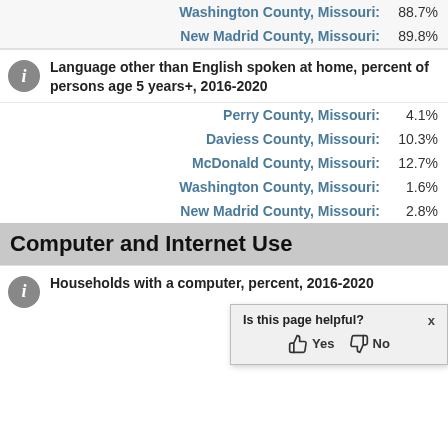Washington County, Missouri: 88.7%
New Madrid County, Missouri: 89.8%
Language other than English spoken at home, percent of persons age 5 years+, 2016-2020
Perry County, Missouri: 4.1%
Daviess County, Missouri: 10.3%
McDonald County, Missouri: 12.7%
Washington County, Missouri: 1.6%
New Madrid County, Missouri: 2.8%
Computer and Internet Use
Households with a computer, percent, 2016-2020
Perry County, Missouri:
Daviess County, Missouri:
Is this page helpful? Yes No